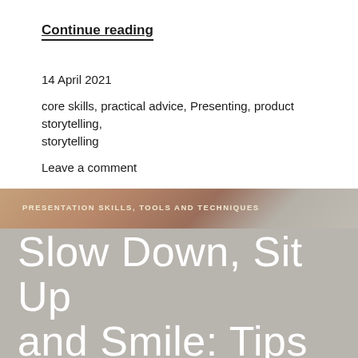Continue reading
14 April 2021
core skills, practical advice, Presenting, product storytelling, storytelling
Leave a comment
[Figure (photo): Hero image with blurred warm brown and grey tones background with presentation skills category label and large title text overlay]
PRESENTATION SKILLS, TOOLS AND TECHNIQUES
Slow Down, Sit Up and Smile: Tips from a Voice Actor